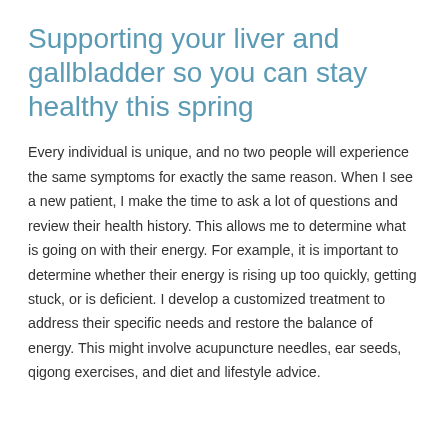Supporting your liver and gallbladder so you can stay healthy this spring
Every individual is unique, and no two people will experience the same symptoms for exactly the same reason. When I see a new patient, I make the time to ask a lot of questions and review their health history. This allows me to determine what is going on with their energy. For example, it is important to determine whether their energy is rising up too quickly, getting stuck, or is deficient. I develop a customized treatment to address their specific needs and restore the balance of energy. This might involve acupuncture needles, ear seeds, qigong exercises, and diet and lifestyle advice.